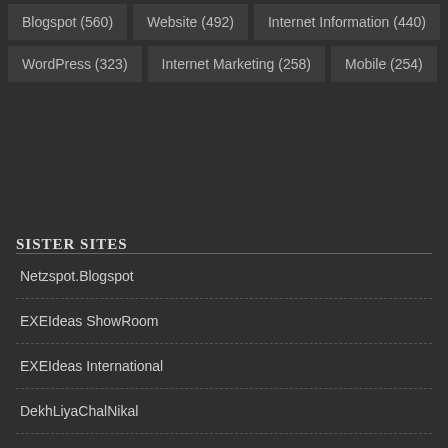Blogspot (560)
Website (492)
Internet Information (440)
WordPress (323)
Internet Marketing (258)
Mobile (254)
SISTER SITES
Netzspot.Blogspot
EXEIdeas ShowRoom
EXEIdeas International
DekhLiyaChalNikal